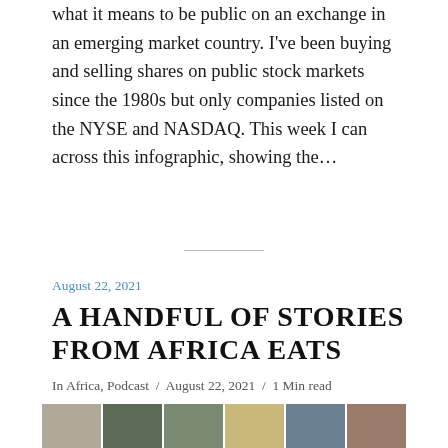what it means to be public on an exchange in an emerging market country. I've been buying and selling shares on public stock markets since the 1980s but only companies listed on the NYSE and NASDAQ. This week I can across this infographic, showing the…
A HANDFUL OF STORIES FROM AFRICA EATS
August 22, 2021
In Africa, Podcast / August 22, 2021 / 1 Min read
[Figure (photo): Grid of thumbnail photos related to Africa Eats podcast stories]